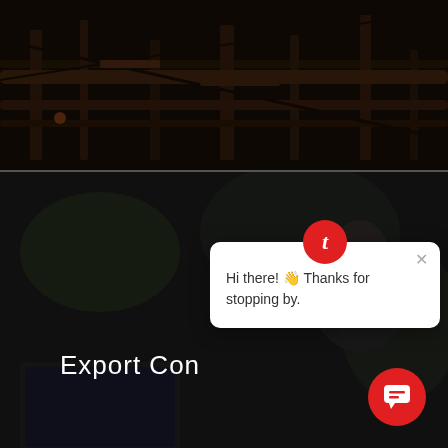[Figure (photo): Dark industrial scene showing machinery components, pipes and cables with warm tones, top half of page]
[Figure (photo): Dark background scene with a person working on a laptop, blurred bokeh background]
Export Con
[Figure (screenshot): Chat popup widget with red 't' icon, close X button, and message: Hi there! 👋 Thanks for stopping by.]
Hi there! 👋 Thanks for stopping by.